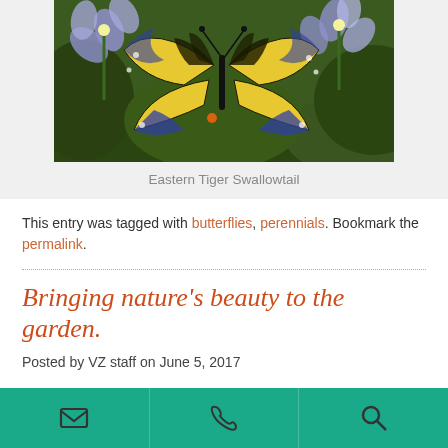[Figure (photo): Eastern Tiger Swallowtail butterfly with yellow and black wings perched on purple flowers with green foliage in background]
Eastern Tiger Swallowtail
This entry was tagged with butterflies, perennials. Bookmark the permalink.
Bringing nature’s beauty to the garden.
Posted by VZ staff on June 5, 2017
Pollinators (butterflies, bees and birds) are very important to our environment.  Without them many plants would not produce the end
Navigation bar with email, phone, and search icons